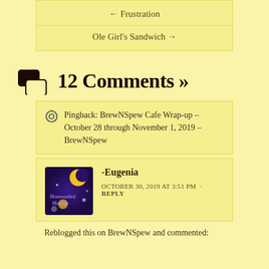← Frustration
Ole Girl's Sandwich →
💬 12 Comments »
Pingback: BrewNSpew Cafe Wrap-up – October 28 through November 1, 2019 – BrewNSpew
-Eugenia
OCTOBER 30, 2019 AT 3:51 PM · REPLY
Reblogged this on BrewNSpew and commented: